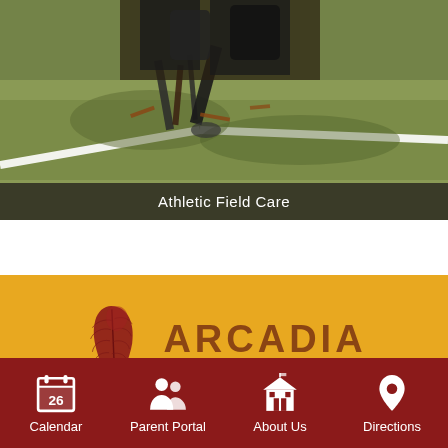[Figure (photo): Outdoor photo of athletic field maintenance workers on a grass field with tools including a drill/aerator, on green/brown grass with a white line marking visible]
Athletic Field Care
[Figure (logo): Arcadia Unified School District logo with dark red feather on yellow/gold background, text reads ARCADIA Unified School District, tagline: Imagine + Inquire + Inspire]
Calendar  Parent Portal  About Us  Directions